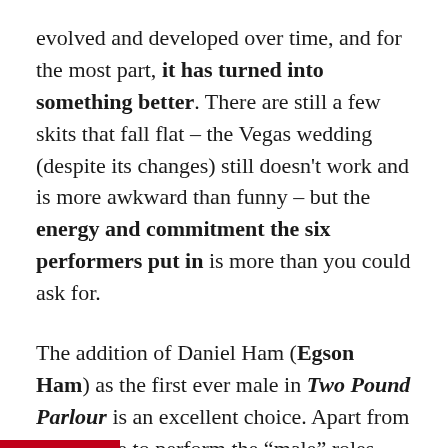evolved and developed over time, and for the most part, it has turned into something better. There are still a few skits that fall flat – the Vegas wedding (despite its changes) still doesn't work and is more awkward than funny – but the energy and commitment the six performers put in is more than you could ask for.
The addition of Daniel Ham (Egson Ham) as the first ever male in Two Pound Parlour is an excellent choice. Apart from being able to perform the "male" roles, such as in "Not In A Gay Way", the dynamic versatility he brings keeps things interesting. Also appearing for